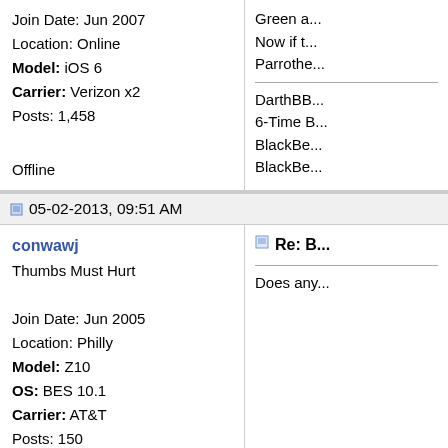Join Date: Jun 2007
Location: Online
Model: iOS 6
Carrier: Verizon x2
Posts: 1,458

Offline
Green a...
Now if t...
Parrothe...
DarthBB...
6-Time B...
BlackBe...
BlackBe...
05-02-2013, 09:51 AM
conwawj
Thumbs Must Hurt

Join Date: Jun 2005
Location: Philly
Model: Z10
OS: BES 10.1
Carrier: AT&T
Posts: 150

Offline
Re: B...

Does any...
05-02-2013, 10:12 AM